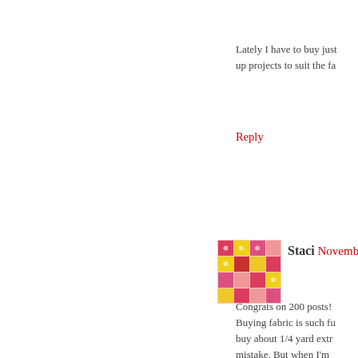Lately I have to buy just up projects to suit the fa
Reply
[Figure (photo): Small avatar image showing colorful patchwork quilt squares in pink, yellow and red]
Staci November 10, 20
Congrats on 200 posts! Buying fabric is such fu buy about 1/4 yard extra mistake. But when I'm with me, I tend to bu temptation. If it is a prin yards. (I hate to piece b Thanks for the lovely gi
Reply
Anonymous November
Congrats your 200th p reading about your qui great giveaway!